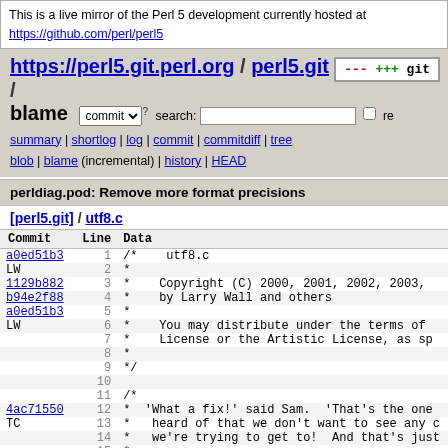This is a live mirror of the Perl 5 development currently hosted at https://github.com/perl/perl5
https://perl5.git.perl.org / perl5.git / blame
commit search: re
summary | shortlog | log | commit | commitdiff | tree blob | blame (incremental) | history | HEAD
perldiag.pod: Remove more format precisions
[perl5.git] / utf8.c
| Commit | Line | Data |
| --- | --- | --- |
| a0ed51b3 | 1 | /*    utf8.c |
| LW | 2 | * |
| 1129b882 | 3 | *    Copyright (C) 2000, 2001, 2002, 2003, |
| b94e2f88 | 4 | *    by Larry Wall and others |
| a0ed51b3 | 5 | * |
| LW | 6 | *    You may distribute under the terms of |
|  | 7 | *    License or the Artistic License, as sp |
|  | 8 | * |
|  | 9 | */ |
|  | 10 |  |
|  | 11 | /* |
| 4ac71550 | 12 | *  'What a fix!' said Sam.  'That's the one |
| TC | 13 | *   heard of that we don't want to see any c |
|  | 14 | *   we're trying to get to!  And that's just |
|  | 15 | * |
|  | 16 | *   ... |